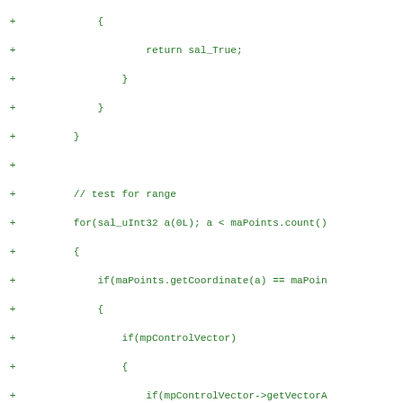[Figure (other): Source code diff snippet showing C++ code with green '+' markers indicating added lines. Code includes control flow with return sal_True, for loop with sal_uInt32, if conditions checking maPoints.getCoordinate and mpControlVector, nested braces, return sal_False, closing brace, and void removeDoublePointsAtBeginEnd() function declaration.]